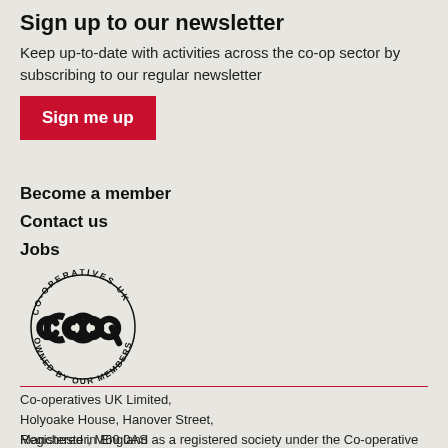Sign up to our newsletter
Keep up-to-date with activities across the co-op sector by subscribing to our regular newsletter
[Figure (other): Red 'Sign me up' button]
Become a member
Contact us
Jobs
[Figure (logo): Co-operatives UK circular logo with 'coop' text and text 'CO-OPERATIVES UK OWNED BY OUR MEMBERS' around the ring]
Co-operatives UK Limited, Holyoake House, Hanover Street, Manchester, M60 0AS
Registered in England as a registered society under the Co-operative